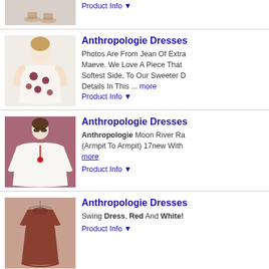[Figure (photo): Partial top image of a product listing, only feet/sandals visible, cropped]
Product Info ▼
[Figure (photo): Woman wearing a white floral dress with dark flower print, short sleeves, A-line style]
Anthropologie Dresses
Photos Are From Jean Of Extra Maeve. We Love A Piece That Softest Side, To Our Sweeter D Details In This ... more
Product Info ▼
[Figure (photo): Woman in white kaftan-style dress with flutter sleeves and red tassel necklace, against mauve background]
Anthropologie Dresses
Anthropologie Moon River Ra (Armpit To Armpit) 17new With more
Product Info ▼
[Figure (photo): Rust/brown short sleeve swing dress laid flat or on hanger against light background]
Anthropologie Dresses
Swing Dress, Red And White!
Product Info ▼
[Figure (photo): Red short sleeve dress with tied waist on a model against neutral background]
Anthropologie Dresses
New Postingeuc Size 8 Anthro Tied Waist, And Pockets. Only Freenon-Smoking Household. 17waist (Seam To Seam) ... mo
Product Info ▼